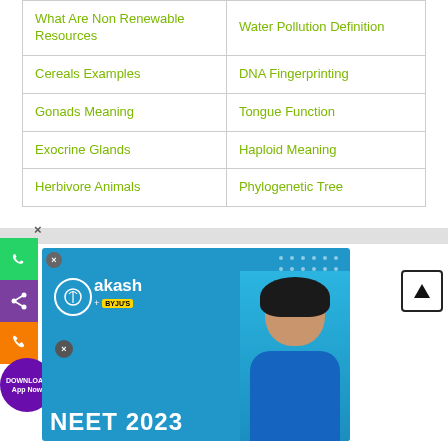| What Are Non Renewable Resources | Water Pollution Definition |
| Cereals Examples | DNA Fingerprinting |
| Gonads Meaning | Tongue Function |
| Exocrine Glands | Haploid Meaning |
| Herbivore Animals | Phylogenetic Tree |
[Figure (screenshot): Aakash BYJU'S advertisement banner featuring NEET 2023 text, logo, and a smiling female student. Includes social media side buttons (WhatsApp, Share, Phone), a Download App Now button, and an up-arrow scroll-to-top button.]